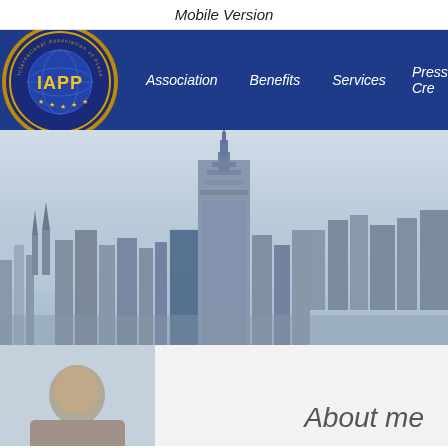Mobile Version
[Figure (logo): IAPP International Association of Press Photographers circular logo with globe and stars]
Association   Benefits   Services   Press Cre...
[Figure (photo): New York City skyline with Empire State Building prominent in center, aerial view]
[Figure (photo): Person portrait photo, partially visible, bottom left]
About me